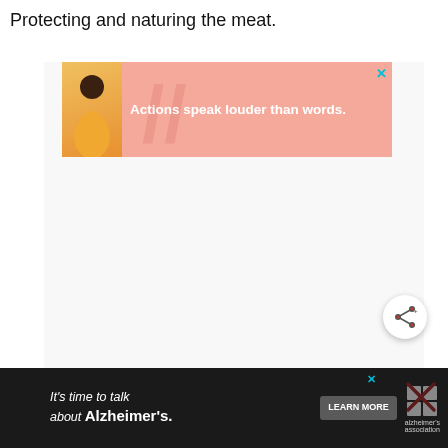Protecting and naturing the meat.
[Figure (screenshot): Advertisement banner with pink background showing a person in yellow and text 'Actions speak louder than words.']
[Figure (screenshot): Light gray content placeholder box]
[Figure (infographic): Share button (circular white button with share icon)]
[Figure (screenshot): Alzheimer's association banner ad on dark background with text 'It's time to talk about Alzheimer's.' and LEARN MORE button]